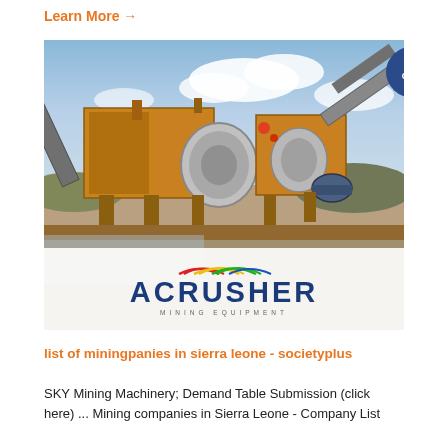Learn More →
[Figure (photo): Large industrial mining crusher/screening machine with conveyor belts at a quarry site, with blue sky and clouds in background. ACRUSHER Mining Equipment logo overlaid at bottom of image.]
list of miningpanies in sierra leone - societyplus
SKY Mining Machinery; Demand Table Submission (click here) ... Mining companies in Sierra Leone - Company List